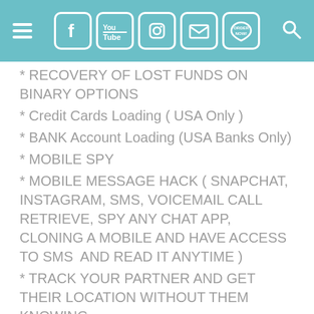Navigation header with hamburger menu, social icons (Facebook, YouTube, Instagram, Email, Order Now), and search icon
* RECOVERY OF LOST FUNDS ON BINARY OPTIONS
* Credit Cards Loading ( USA Only )
* BANK Account Loading (USA Banks Only)
* MOBILE SPY
* MOBILE MESSAGE HACK ( SNAPCHAT, INSTAGRAM, SMS, VOICEMAIL CALL RETRIEVE, SPY ANY CHAT APP, CLONING A MOBILE AND HAVE ACCESS TO SMS  AND READ IT ANYTIME )
* TRACK YOUR PARTNER AND GET THEIR LOCATION WITHOUT THEM KNOWING
* WE HAVE THE BEST TECHNICAL